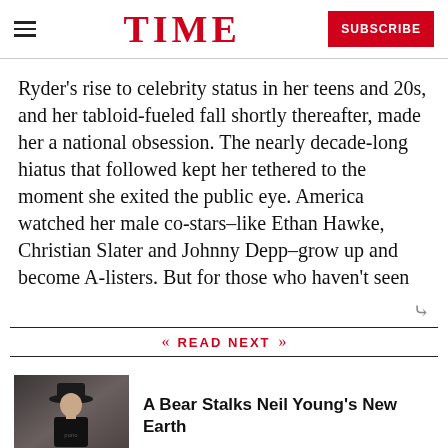TIME | SUBSCRIBE
Ryder's rise to celebrity status in her teens and 20s, and her tabloid-fueled fall shortly thereafter, made her a national obsession. The nearly decade-long hiatus that followed kept her tethered to the moment she exited the public eye. America watched her male co-stars–like Ethan Hawke, Christian Slater and Johnny Depp–grow up and become A-listers. But for those who haven't seen
READ NEXT
[Figure (photo): Photo of a person wearing a black hat and black shirt with 'pono' text, against a dark background]
A Bear Stalks Neil Young's New Earth